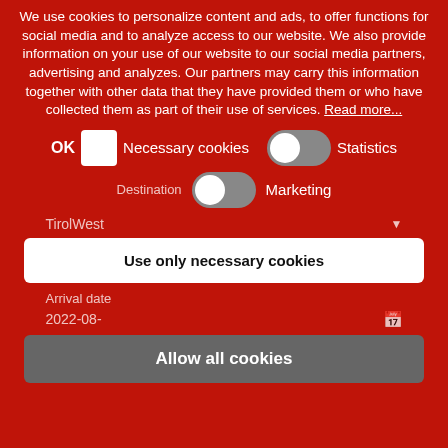We use cookies to personalize content and ads, to offer functions for social media and to analyze access to our website. We also provide information on your use of our website to our social media partners, advertising and analyzes. Our partners may carry this information together with other data that they have provided them or who have collected them as part of their use of services. Read more...
OK  Necessary cookies  Statistics
Destination  Marketing
TirolWest
Use only necessary cookies
Arrival date
2022-08-
Allow all cookies